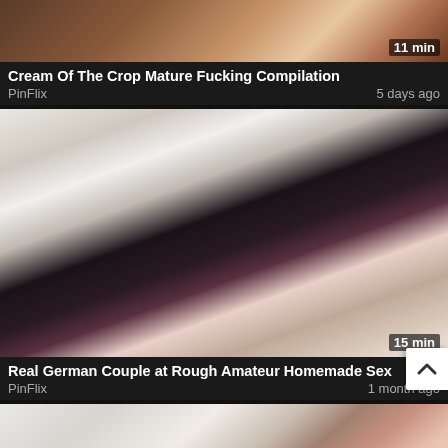[Figure (photo): Video thumbnail showing mature content, duration overlay '11 min']
Cream Of The Crop Mature Fucking Compilation
PinFlix    5 days ago
[Figure (photo): Video thumbnail showing couple, duration overlay '15 min']
Real German Couple at Rough Amateur Homemade Sex
PinFlix    1 month ago
[Figure (photo): Video thumbnail showing redhead woman, partially visible]